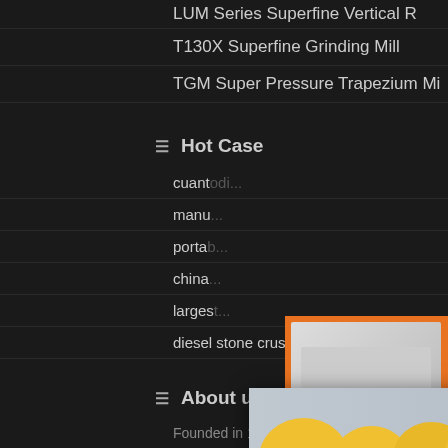LUM Series Superfine Vertical R
T130X Superfine Grinding Mill
TGM Super Pressure Trapezium Mi
Hot Case
cuant...
manu...
portab...
china...
larges...
diesel stone crusher machine japan
About us
Founded in 1987, Liming Crushing Compa... mainly engaged in the R&D and manufacturing of large-
[Figure (photo): Live Chat popup with construction workers in hard hats, red LIVE CHAT text, Chat now and Chat later buttons]
[Figure (photo): Right sidebar with orange background showing crushing/grinding machines, discount offer, enquiry and email contact]